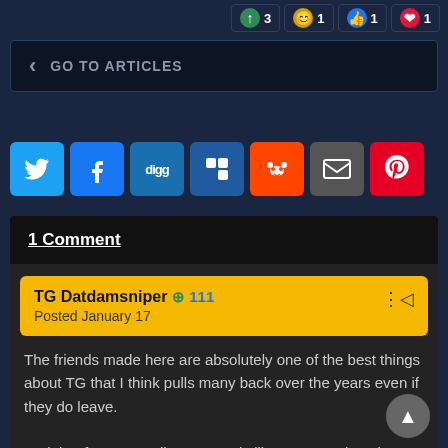[Figure (other): Reaction buttons showing green up arrow with 3, gold emoji with 1, blue thumbs up with 1, red heart with 1]
GO TO ARTICLES
[Figure (other): Social share buttons: Twitter, Facebook, Digg, Delicious, Reddit, Email, Pinterest]
1 Comment
TG Datdamsniper + 111
Posted January 17
The friends made here are absolutely one of the best things about TG that I think pulls many back over the years even if they do leave.

And that forum contributor sounds like a great role to keep up activity on the website for those unable to attend practices regularly!